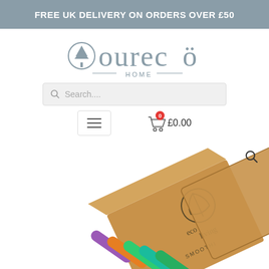FREE UK DELIVERY ON ORDERS OVER £50
[Figure (logo): oureco HOME logo in grey text with decorative tree icon]
[Figure (screenshot): Search bar with magnifying glass icon and placeholder text 'Search....']
[Figure (screenshot): Navigation bar with hamburger menu button and shopping cart showing £0.00 with badge 0]
[Figure (photo): Product photo showing ecoliving smoothie straws in multiple colors (purple, orange, green, blue) in a kraft paper box packaging at an angle, with a magnifying glass icon in top-right corner]